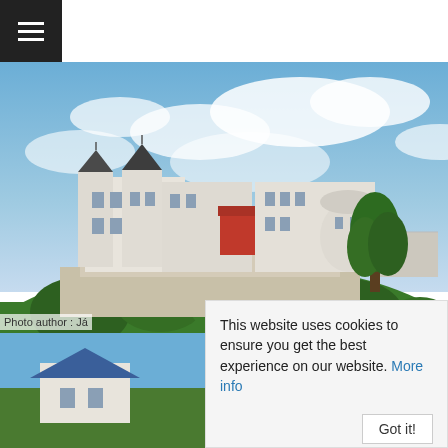[Figure (screenshot): Website header navigation bar with hamburger menu icon on dark background]
[Figure (photo): A large white castle with dark roofs and an orange-roofed wing, situated on a forested hill under a partly cloudy blue sky]
Photo author : Já
[Figure (photo): Thumbnail of another building with blue roof, partially visible at bottom left]
This website uses cookies to ensure you get the best experience on our website. More info
Got it!